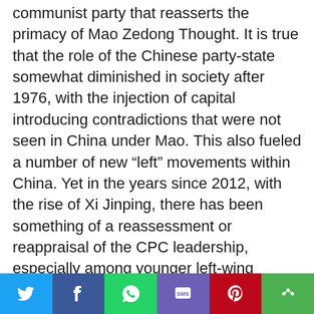communist party that reasserts the primacy of Mao Zedong Thought. It is true that the role of the Chinese party-state somewhat diminished in society after 1976, with the injection of capital introducing contradictions that were not seen in China under Mao. This also fueled a number of new “left” movements within China. Yet in the years since 2012, with the rise of Xi Jinping, there has been something of a reassessment or reappraisal of the CPC leadership, especially among younger left-wing Chinese citizens. With Xi’s anti-corruption drive seen as widely justified and necessary to clean out the corrupt bureaucracy created by Reform and Opening Up, with his strengthening of Marxist education in schools, and with his creative maneuvers to
Social share bar: Twitter, Facebook, WhatsApp, SMS, Pinterest, More